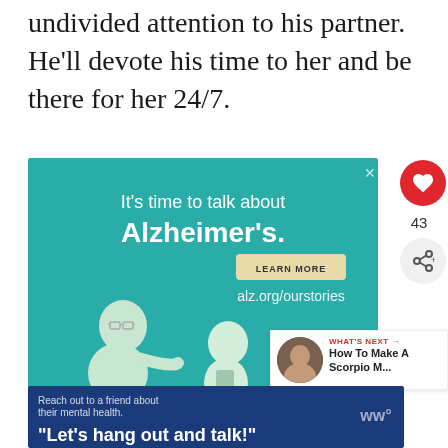undivided attention to his partner. He'll devote his time to her and be there for her 24/7.
[Figure (illustration): Advertisement banner for Alzheimer's Association. Teal background with text 'It's time to talk about Alzheimer's.' with a LEARN MORE button and alz.org/ourstories URL. Features an illustration of two elderly people (a man and a woman). Alzheimer's association logo at bottom right.]
[Figure (illustration): Bottom advertisement banner in dark blue with text 'Reach out to a friend about their mental health.' and large text quote 'Let's hang out and talk!']
43
WHAT'S NEXT → How To Make A Scorpio M...